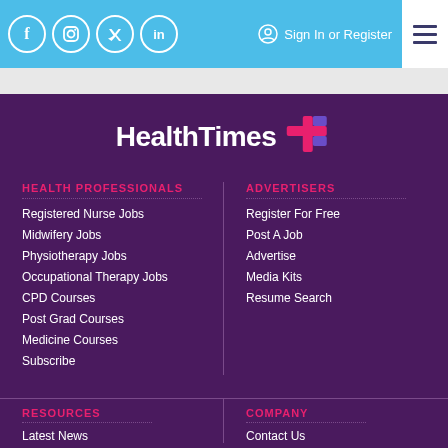Social icons: Facebook, Instagram, Twitter, LinkedIn | Sign In or Register | Menu
[Figure (logo): HealthTimes logo with colorful plus sign icon on dark purple background]
HEALTH PROFESSIONALS
Registered Nurse Jobs
Midwifery Jobs
Physiotherapy Jobs
Occupational Therapy Jobs
CPD Courses
Post Grad Courses
Medicine Courses
Subscribe
ADVERTISERS
Register For Free
Post A Job
Advertise
Media Kits
Resume Search
RESOURCES
Latest News
COMPANY
Contact Us